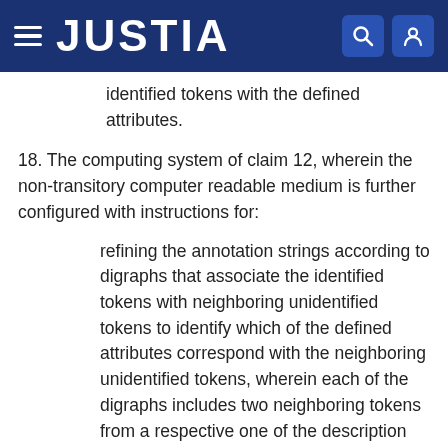JUSTIA
identified tokens with the defined attributes.
18. The computing system of claim 12, wherein the non-transitory computer readable medium is further configured with instructions for:
refining the annotation strings according to digraphs that associate the identified tokens with neighboring unidentified tokens to identify which of the defined attributes correspond with the neighboring unidentified tokens, wherein each of the digraphs includes two neighboring tokens from a respective one of the description strings.
19. The computing system of claim 12, wherein the non-transitory computer readable medium is further configured with instructions for: